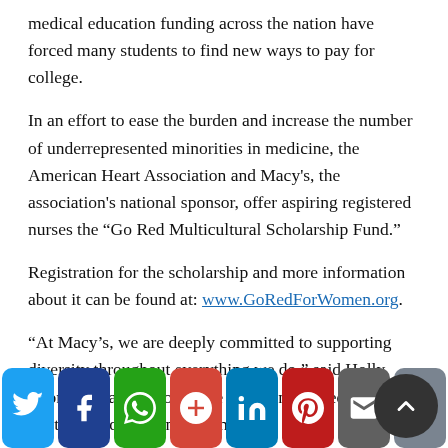medical education funding across the nation have forced many students to find new ways to pay for college.
In an effort to ease the burden and increase the number of underrepresented minorities in medicine, the American Heart Association and Macy's, the association's national sponsor, offer aspiring registered nurses the “Go Red Multicultural Scholarship Fund.”
Registration for the scholarship and more information about it can be found at: www.GoRedForWomen.org.
“At Macy’s, we are deeply committed to supporting diversity throughout everything we do,” said Holly Thomas, Macy’s group vice president of media relations and cause marketing.